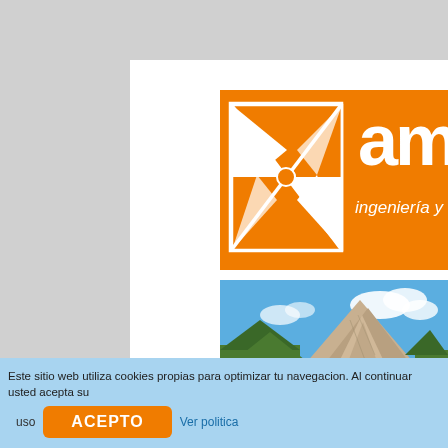[Figure (logo): Orange banner with white pinwheel/windmill logo and partial company name 'am...' with 'ingeniería y...' subtitle in white italic text]
[Figure (photo): Landscape photograph of a rocky mountain peak with green trees and blue sky with white clouds]
Este sitio web utiliza cookies propias para optimizar tu navegacion. Al continuar usted acepta su uso
ACEPTO
Ver politica